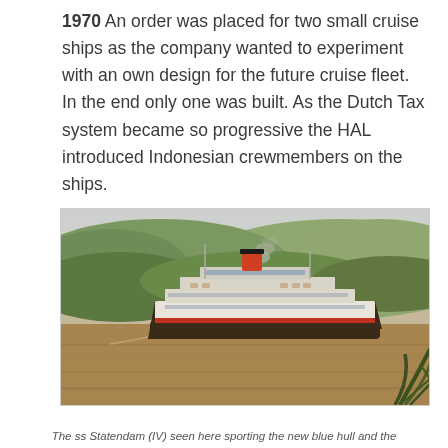1970 An order was placed for two small cruise ships as the company wanted to experiment with an own design for the future cruise fleet. In the end only one was built. As the Dutch Tax system became so progressive the HAL introduced Indonesian crewmembers on the ships.
[Figure (photo): A large cruise ship (ss Statendam IV) with a white hull and orange-red funnel, sailing through a muddy brown canal or river, with lush green hillside vegetation in the background and palm fronds visible in the lower right foreground.]
The ss Statendam (IV) seen here sporting the new blue hull and the